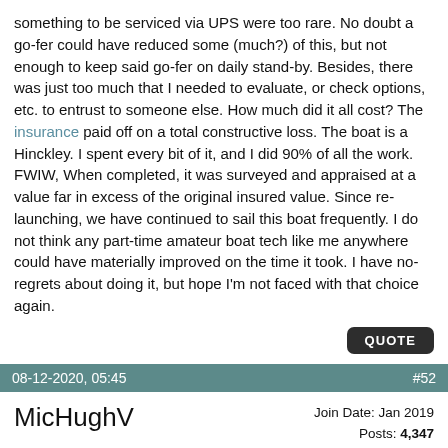something to be serviced via UPS were too rare. No doubt a go-fer could have reduced some (much?) of this, but not enough to keep said go-fer on daily stand-by. Besides, there was just too much that I needed to evaluate, or check options, etc. to entrust to someone else. How much did it all cost? The insurance paid off on a total constructive loss. The boat is a Hinckley. I spent every bit of it, and I did 90% of all the work. FWIW, When completed, it was surveyed and appraised at a value far in excess of the original insured value. Since re-launching, we have continued to sail this boat frequently. I do not think any part-time amateur boat tech like me anywhere could have materially improved on the time it took. I have no-regrets about doing it, but hope I'm not faced with that choice again.
QUOTE
08-12-2020, 05:45   #52
MicHughV   Join Date: Jan 2019   Posts: 4,347
Re: Thoughts on my plans so far.
we are all wasting our time here....
QUOTE